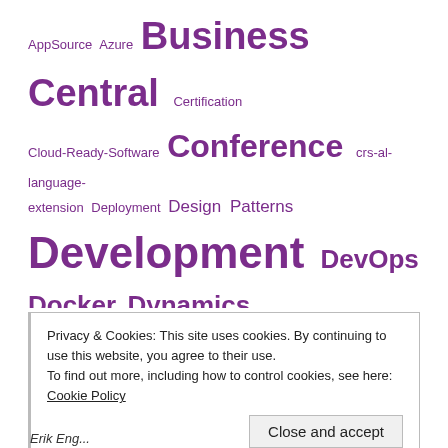[Figure (other): Tag cloud with various technology-related tags in purple, varying font sizes indicating frequency/importance. Tags include: AppSource, Azure, Business Central, Certification, Cloud-Ready-Software, Conference, crs-al-language-extension, Deployment, Design Patterns, Development, DevOps, Docker, Dynamics 365, Eventing, Extensions, Git, Installation, Legal Update, Licensing, ModernDev, Multitenancy, NAV 5.0, NAV 2009, NAV 2013, NAV 2013 R2, NAV 2015, NAV 2016, NAV 2017, NAV 2018, NAVTechDays, O365, Partner-Ready-Software, Platform Updates, PowerShell, Project Madeira, RegExt, Reports, SQL Server, Training, Upgrade, VSCode]
Privacy & Cookies: This site uses cookies. By continuing to use this website, you agree to their use. To find out more, including how to control cookies, see here: Cookie Policy
Erik Eng...